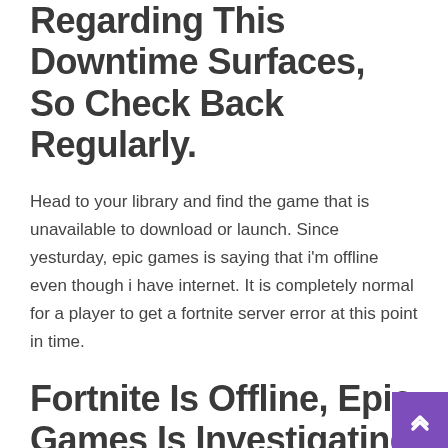Post As More News Regarding This Downtime Surfaces, So Check Back Regularly.
Head to your library and find the game that is unavailable to download or launch. Since yesturday, epic games is saying that i'm offline even though i have internet. It is completely normal for a player to get a fortnite server error at this point in time.
Fortnite Is Offline, Epic Games Is Investigating [Updated] Epic Games